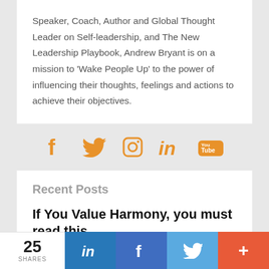Speaker, Coach, Author and Global Thought Leader on Self-leadership, and The New Leadership Playbook, Andrew Bryant is on a mission to 'Wake People Up' to the power of influencing their thoughts, feelings and actions to achieve their objectives.
[Figure (other): Social media icons row: Facebook, Twitter, Instagram, LinkedIn, YouTube — all in orange]
Recent Posts
If You Value Harmony, you must read this...
Speaker, Coach, Author and Global Thought Leader on Self-leadership...
[Figure (other): Share bar footer: 25 SHARES count, LinkedIn, Facebook, Twitter, and + buttons]